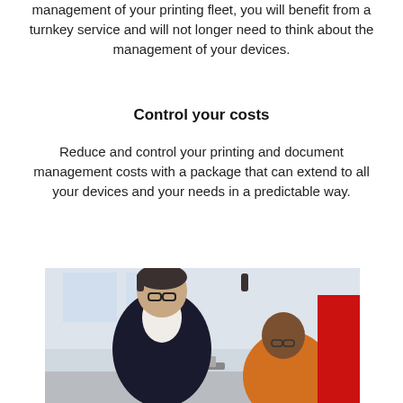management of your printing fleet, you will benefit from a turnkey service and will not longer need to think about the management of your devices.
Control your costs
Reduce and control your printing and document management costs with a package that can extend to all your devices and your needs in a predictable way.
[Figure (photo): Two men looking at a laptop together. One man wearing glasses and a dark blazer over white shirt, another man in an orange shirt also wearing glasses. A red vertical bar accent on the right side of the image.]